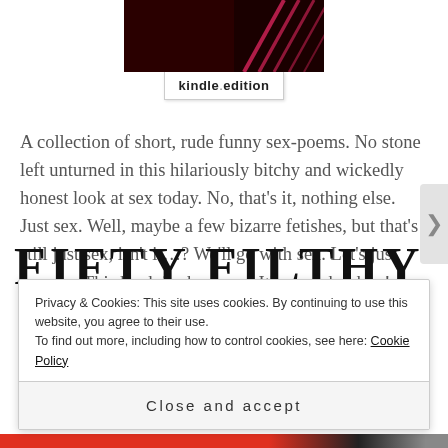[Figure (illustration): Book cover thumbnail with dark red background and pink diagonal stripes, with a 'kindle edition' badge below it]
A collection of short, rude funny sex-poems. No stone left unturned in this hilariously bitchy and wickedly honest look at sex today. No, that's it, nothing else. Just sex. Well, maybe a few bizarre fetishes, but that's still just sex, isn't it…? We'll go with sex. Let's just say sex. This book is about sex. It's a sex-book…!
FIFTY FILTHY
Privacy & Cookies: This site uses cookies. By continuing to use this website, you agree to their use. To find out more, including how to control cookies, see here: Cookie Policy
Close and accept